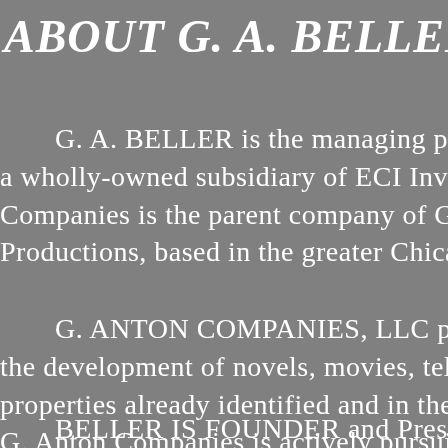ABOUT G. A. BELLER
G. A. BELLER is the managing prin a wholly-owned subsidiary of ECI Inve Companies is the parent company of G Productions, based in the greater Chica
G. ANTON COMPANIES, LLC provide the development of novels, movies, televis properties already identified and in the pip G. Anton Companies is actively pursuing a produced.
BELLER IS FOUNDER and President